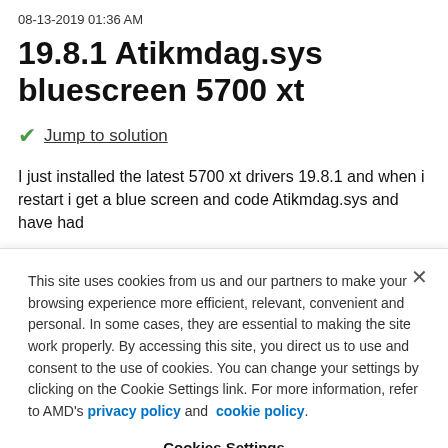08-13-2019 01:36 AM
19.8.1 Atikmdag.sys bluescreen 5700 xt
✔ Jump to solution
I just installed the latest 5700 xt drivers 19.8.1 and when i restart i get a blue screen and code Atikmdag.sys and have had
This site uses cookies from us and our partners to make your browsing experience more efficient, relevant, convenient and personal. In some cases, they are essential to making the site work properly. By accessing this site, you direct us to use and consent to the use of cookies. You can change your settings by clicking on the Cookie Settings link. For more information, refer to AMD's privacy policy and cookie policy.
Cookies Settings